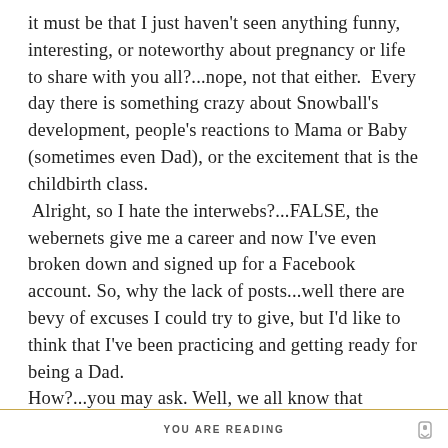it must be that I just haven't seen anything funny, interesting, or noteworthy about pregnancy or life to share with you all?...nope, not that either.  Every day there is something crazy about Snowball's development, people's reactions to Mama or Baby (sometimes even Dad), or the excitement that is the childbirth class.
 Alright, so I hate the interwebs?...FALSE, the webernets give me a career and now I've even broken down and signed up for a Facebook account. So, why the lack of posts...well there are bevy of excuses I could try to give, but I'd like to think that I've been practicing and getting ready for being a Dad.
How?...you may ask. Well, we all know that parents get 0 sleep and 0 free time once the bundle of joy is snuggled into the crib (or not) instead of Ashli's belly. Actually, according to well, EVERYONE, "you have no idea what to expect until you get there". So, I guess I don't know that
YOU ARE READING